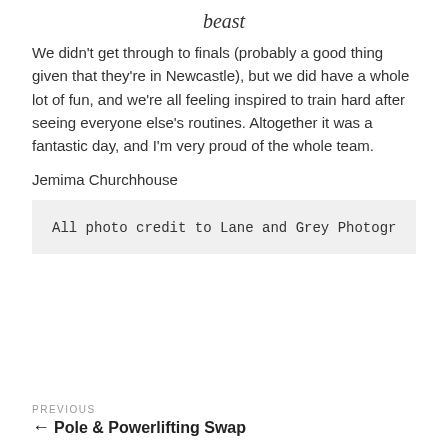beast
We didn't get through to finals (probably a good thing given that they're in Newcastle), but we did have a whole lot of fun, and we're all feeling inspired to train hard after seeing everyone else's routines. Altogether it was a fantastic day, and I'm very proud of the whole team.
Jemima Churchhouse
All photo credit to Lane and Grey Photogr
PREVIOUS ← Pole & Powerlifting Swap